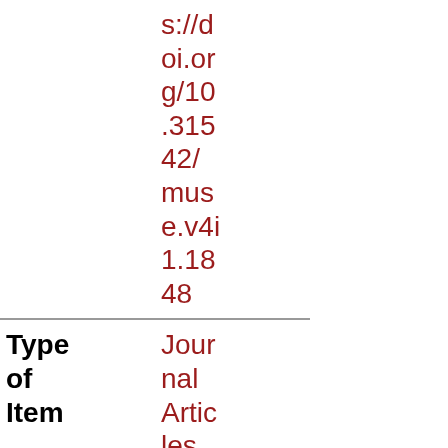|  | s://doi.org/10.31542/muse.v4i1.1848 |
| Type of Item | Journal Articles |
| Language | English |
| Location | https://roam.macew |